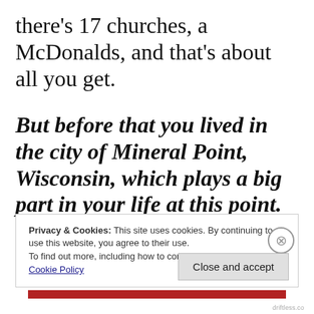there's 17 churches, a McDonalds, and that's about all you get.
But before that you lived in the city of Mineral Point, Wisconsin, which plays a big part in your life at this point. You just wrapped the Driftless Film Festival there,
Privacy & Cookies: This site uses cookies. By continuing to use this website, you agree to their use.
To find out more, including how to control cookies, see here: Cookie Policy
Close and accept